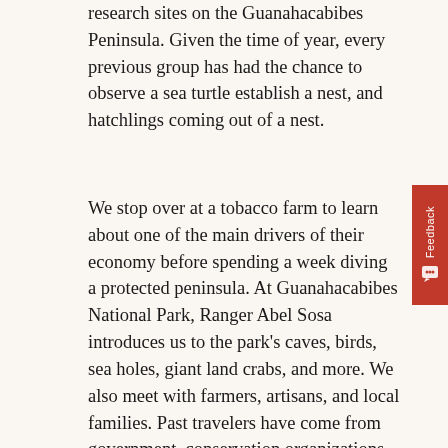research sites on the Guanahacabibes Peninsula. Given the time of year, every previous group has had the chance to observe a sea turtle establish a nest, and hatchlings coming out of a nest.
We stop over at a tobacco farm to learn about one of the main drivers of their economy before spending a week diving a protected peninsula. At Guanahacabibes National Park, Ranger Abel Sosa introduces us to the park's caves, birds, sea holes, giant land crabs, and more. We also meet with farmers, artisans, and local families. Past travelers have come from government, conservation organizations, and academia, though they all traveled as individuals, and not representing their institutions. Last year, we even had an Emmy award-winning videographer join us. You'll never know who you'll meet.